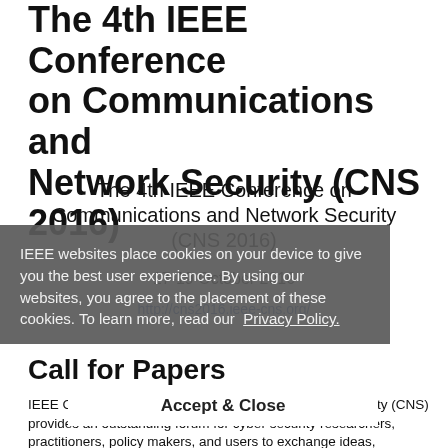The 4th IEEE Conference on Communications and Network Security (CNS 2016)
The 4th IEEE Conference on Communications and Network Security (CNS 2016)
17-19 October 2016
http://cns2016.ieee-cns.org/
Call for Papers
IEEE Conference on Communications and Network Security (CNS) provides an outstanding forum for cyber security researchers, practitioners, policy makers, and users to exchange ideas, techniques and tools, raise awareness, and share experience
IEEE websites place cookies on your device to give you the best user experience. By using our websites, you agree to the placement of these cookies. To learn more, read our Privacy Policy.
Accept & Close